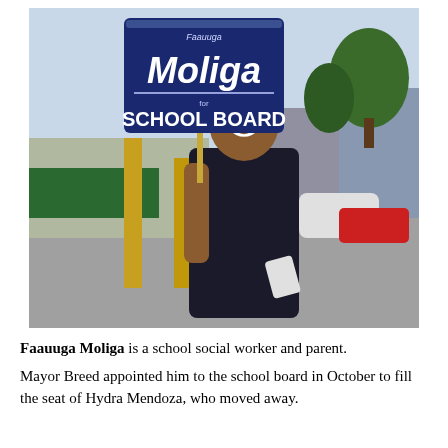[Figure (photo): A man smiling and holding a campaign sign that reads 'Faauuga Moliga for SCHOOL BOARD', wearing a dark navy hoodie, standing in a parking lot area with trees and buildings in the background.]
Faauuga Moliga is a school social worker and parent.
Mayor Breed appointed him to the school board in October to fill the seat of Hydra Mendoza, who moved away.